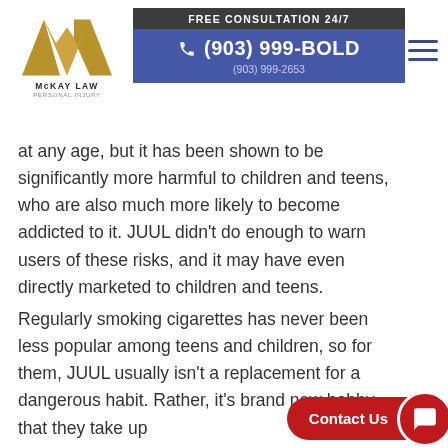[Figure (logo): McKay Law Personal Injury logo with gold triangle/mountain shape and firm name]
FREE CONSULTATION 24/7 | (903) 999-BOLD | (903) 999-2653
at any age, but it has been shown to be significantly more harmful to children and teens, who are also much more likely to become addicted to it. JUUL didn't do enough to warn users of these risks, and it may have even directly marketed to children and teens.
Regularly smoking cigarettes has never been less popular among teens and children, so for them, JUUL usually isn't a replacement for a dangerous habit. Rather, it's brand new hobby that they take up